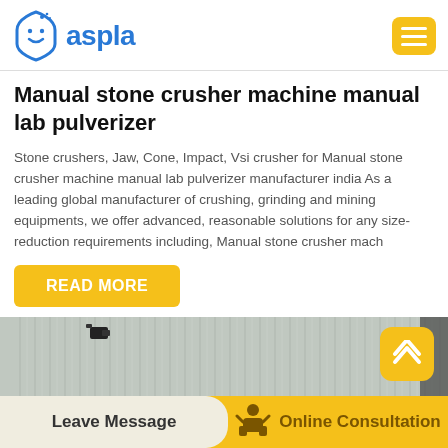aspla
Manual stone crusher machine manual lab pulverizer
Stone crushers, Jaw, Cone, Impact, Vsi crusher for Manual stone crusher machine manual lab pulverizer manufacturer india As a leading global manufacturer of crushing, grinding and mining equipments, we offer advanced, reasonable solutions for any size-reduction requirements including, Manual stone crusher mach
READ MORE
[Figure (photo): Photo of metal corrugated wall/shed exterior with a dark security camera mounted on it]
Leave Message   Online Consultation